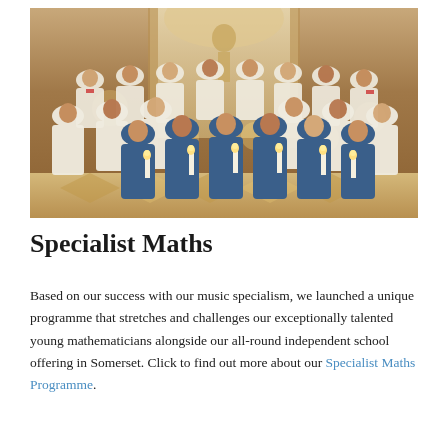[Figure (photo): A large group of choristers in a cathedral setting. Boys in the front row wear blue robes and hold lit candles. Boys in the back rows wear white surplices over dark cassocks. An ornate gothic altar with a statue is visible in the background, with warm amber lighting throughout.]
Specialist Maths
Based on our success with our music specialism, we launched a unique programme that stretches and challenges our exceptionally talented young mathematicians alongside our all-round independent school offering in Somerset. Click to find out more about our Specialist Maths Programme.